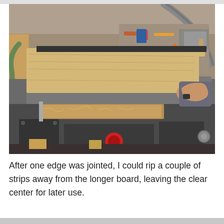[Figure (photo): A person's hand guiding a wooden board through a table saw in a woodworking workshop. Sawdust and wood shavings are visible beneath the saw, and various tools and equipment are visible in the background.]
After one edge was jointed, I could rip a couple of strips away from the longer board, leaving the clear center for later use.